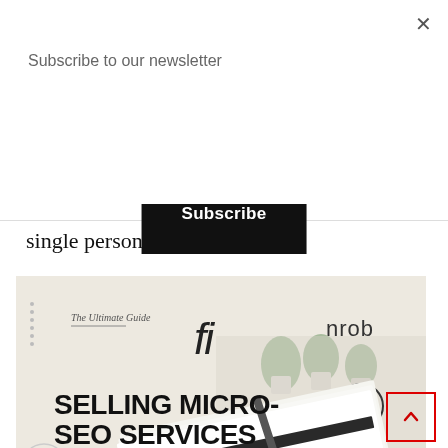Subscribe to our newsletter
Subscribe
single person.
[Figure (illustration): Book cover image for 'The Ultimate Guide: Selling Micro-SEO Services on Fiverr' by mrnirob. Shows a notebook with pen, plants in background, Fiverr 'fi' logo, mrob logo, and arrow circle icon. Website: www.mrnirob.com]
MAKE MONEY ONLINE BY SELLING MICRO-SEO SERVICES ON F
Some common tasks include: